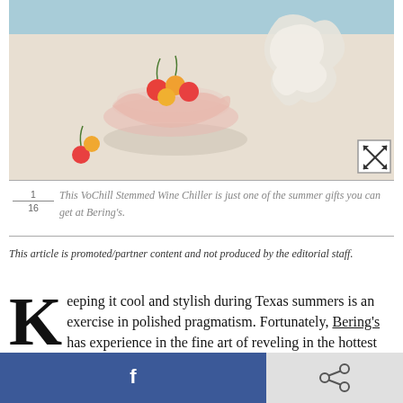[Figure (photo): A pink glass fluted bowl containing cherries sits on a light surface next to a white sculptural object, with a swimming pool/blue surface visible in the background. Some cherries are scattered on the surface. An expand/fullscreen button appears in the bottom right corner.]
1/16 This VoChill Stemmed Wine Chiller is just one of the summer gifts you can get at Bering's.
This article is promoted/partner content and not produced by the editorial staff.
Keeping it cool and stylish during Texas summers is an exercise in polished pragmatism. Fortunately, Bering's has experience in the fine art of reveling in the hottest
[Figure (other): Facebook share button (blue) and a share/network icon button (grey) at the bottom of the page]